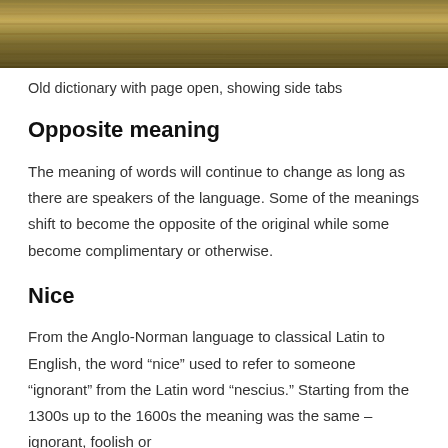[Figure (photo): Old dictionary with page open, showing side tabs — wood-textured or book spine visible]
Old dictionary with page open, showing side tabs
Opposite meaning
The meaning of words will continue to change as long as there are speakers of the language. Some of the meanings shift to become the opposite of the original while some become complimentary or otherwise.
Nice
From the Anglo-Norman language to classical Latin to English, the word “nice” used to refer to someone “ignorant” from the Latin word “nescius.” Starting from the 1300s up to the 1600s the meaning was the same – ignorant, foolish or